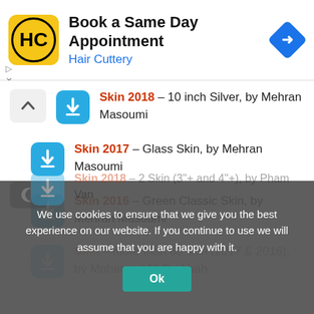[Figure (infographic): Advertisement banner: Hair Cuttery logo (HC in circle on yellow background), text 'Book a Same Day Appointment' and 'Hair Cuttery' in blue, blue diamond navigation arrow icon on right]
Skin 2018 – 10 inch Silver, by Mehran Masoumi
Skin 2017 – Glass Skin, by Mehran Masoumi
Skin 2016 – Green Classic Skin, by Mehran Masoumi
Skin – more than 60 skin (2017 & 2016), by Mohamad Ali Darkhah
Skin 2018 – 2 Skin (3"+ and 4"+), by Pham Van
We use cookies to ensure that we give you the best experience on our website. If you continue to use we will assume that you are happy with it.